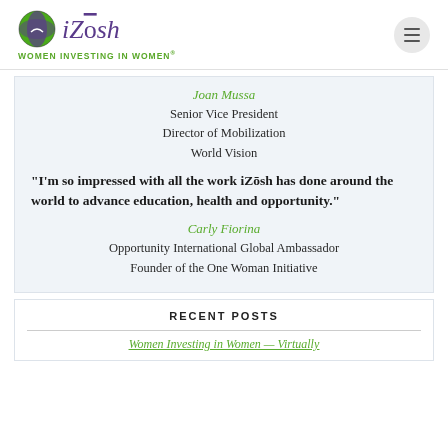iZosh — Women Investing in Women
Joan Mussa
Senior Vice President
Director of Mobilization
World Vision
"I'm so impressed with all the work iZosh has done around the world to advance education, health and opportunity."
Carly Fiorina
Opportunity International Global Ambassador
Founder of the One Woman Initiative
RECENT POSTS
Women Investing in Women — Virtually